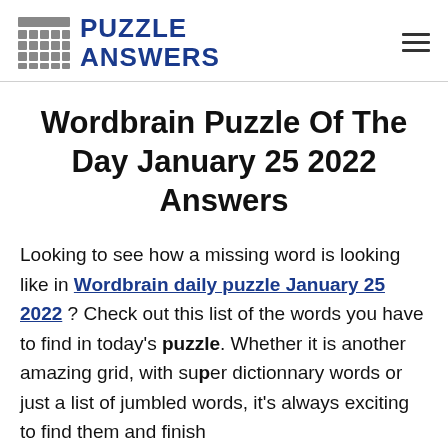PUZZLE ANSWERS
Wordbrain Puzzle Of The Day January 25 2022 Answers
Looking to see how a missing word is looking like in Wordbrain daily puzzle January 25 2022 ? Check out this list of the words you have to find in today's puzzle. Whether it is another amazing grid, with super dictionnary words or just a list of jumbled words, it's always exciting to find them and finish